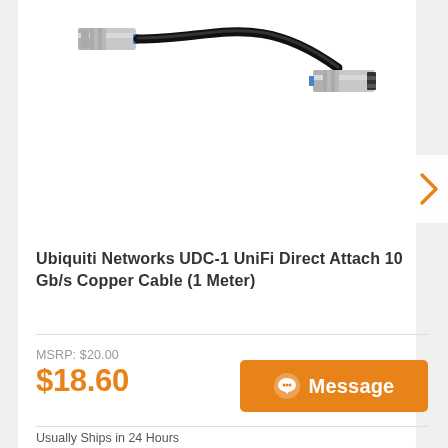[Figure (photo): Ubiquiti Networks UDC-1 UniFi Direct Attach copper cable with two SFP+ connectors, black cable coiled, on white background]
Ubiquiti Networks UDC-1 UniFi Direct Attach 10 Gb/s Copper Cable (1 Meter)
MSRP: $20.00
$18.60
Usually Ships in 24 Hours